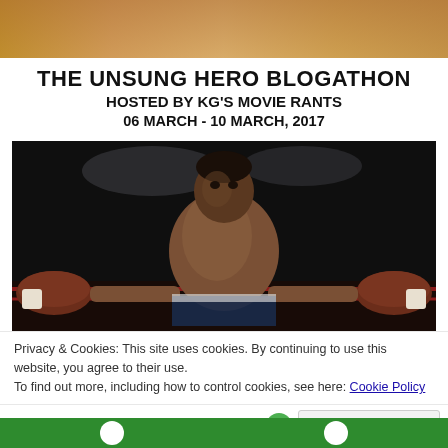[Figure (photo): Partial top image showing skin tones, likely part of the blogathon banner graphic]
THE UNSUNG HERO BLOGATHON
HOSTED BY KG'S MOVIE RANTS
06 MARCH - 10 MARCH, 2017
[Figure (photo): A shirtless male boxer (resembling Will Smith) standing in a boxing ring with arms spread, wearing boxing gloves, dark background with spotlights]
Privacy & Cookies: This site uses cookies. By continuing to use this website, you agree to their use.
To find out more, including how to control cookies, see here: Cookie Policy
Close and accept